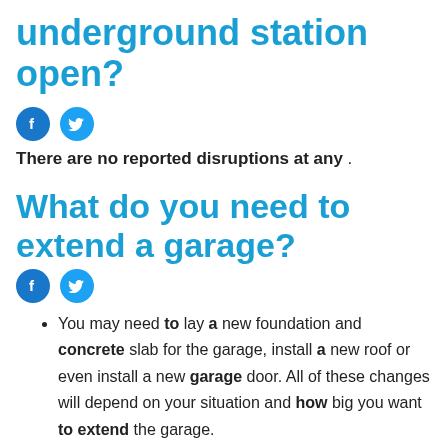underground station open?
[Figure (other): Facebook and Twitter social share icons]
There are no reported disruptions at any .
What do you need to extend a garage?
[Figure (other): Facebook and Twitter social share icons]
You may need to lay a new foundation and concrete slab for the garage, install a new roof or even install a new garage door. All of these changes will depend on your situation and how big you want to extend the garage.